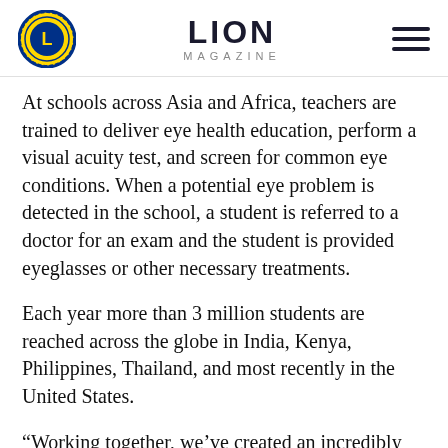LION MAGAZINE
At schools across Asia and Africa, teachers are trained to deliver eye health education, perform a visual acuity test, and screen for common eye conditions. When a potential eye problem is detected in the school, a student is referred to a doctor for an exam and the student is provided eyeglasses or other necessary treatments.
Each year more than 3 million students are reached across the globe in India, Kenya, Philippines, Thailand, and most recently in the United States.
“Working together, we’ve created an incredibly powerful program over the last 20 years— reaching